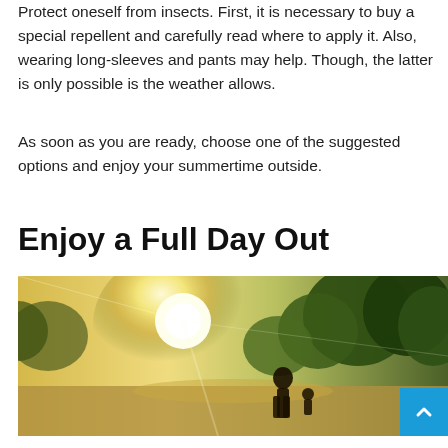Protect oneself from insects. First, it is necessary to buy a special repellent and carefully read where to apply it. Also, wearing long-sleeves and pants may help. Though, the latter is only possible is the weather allows.
As soon as you are ready, choose one of the suggested options and enjoy your summertime outside.
Enjoy a Full Day Out
[Figure (photo): Outdoor photo showing a bright sunlit scene with trees and a child/person walking in nature, back-lit by strong sunlight. A blue scroll-to-top button appears in the bottom-right corner.]